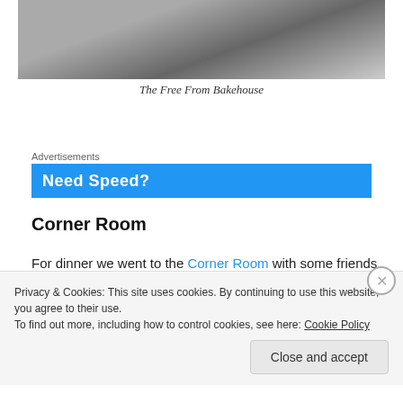[Figure (photo): Partial street-level photo showing legs/feet and part of a vehicle, viewed from above]
The Free From Bakehouse
Advertisements
[Figure (screenshot): Blue advertisement banner reading 'Need Speed?']
Corner Room
For dinner we went to the Corner Room with some friends
Privacy & Cookies: This site uses cookies. By continuing to use this website, you agree to their use.
To find out more, including how to control cookies, see here: Cookie Policy
Close and accept